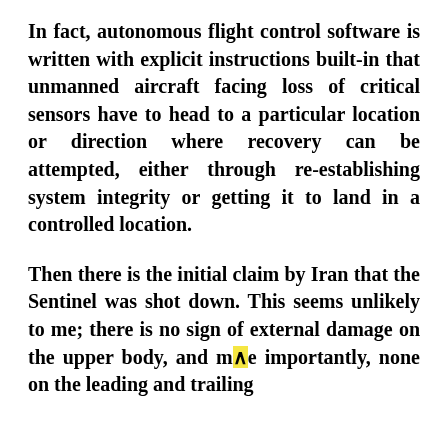In fact, autonomous flight control software is written with explicit instructions built-in that unmanned aircraft facing loss of critical sensors have to head to a particular location or direction where recovery can be attempted, either through re-establishing system integrity or getting it to land in a controlled location.
Then there is the initial claim by Iran that the Sentinel was shot down. This seems unlikely to me; there is no sign of external damage on the upper body, and more importantly, none on the leading and trailing